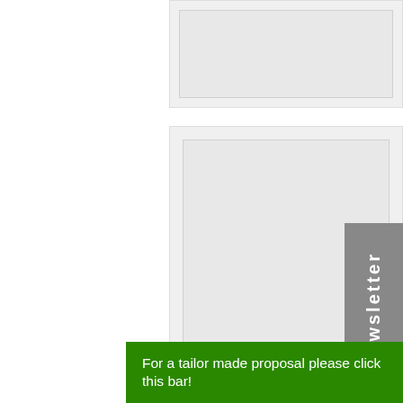[Figure (screenshot): Partially visible top card/thumbnail with nested gray boxes]
[Figure (screenshot): Middle card/thumbnail with nested gray boxes showing content placeholder]
Or
Py
Co Ka
[Figure (screenshot): Bottom card/thumbnail partially visible with nested gray boxes]
[Figure (other): Newsletter tab rotated vertically in gray box]
Fu clo
priv
For a tailor made proposal please click this bar!